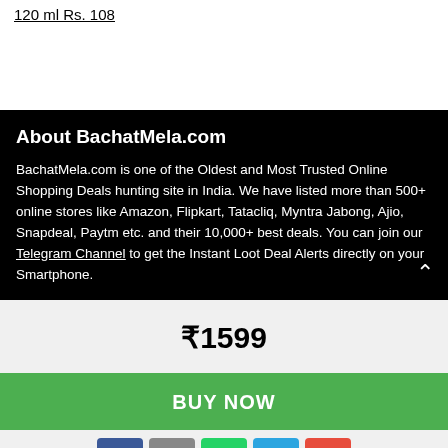120 ml Rs. 108
About BachatMela.com
BachatMela.com is one of the Oldest and Most Trusted Online Shopping Deals hunting site in India. We have listed more than 500+ online stores like Amazon, Flipkart, Tatacliq, Myntra Jabong, Ajio, Snapdeal, Paytm etc. and their 10,000+ best deals. You can join our Telegram Channel to get the Instant Loot Deal Alerts directly on your Smartphone.
₹1599
BUY NOW